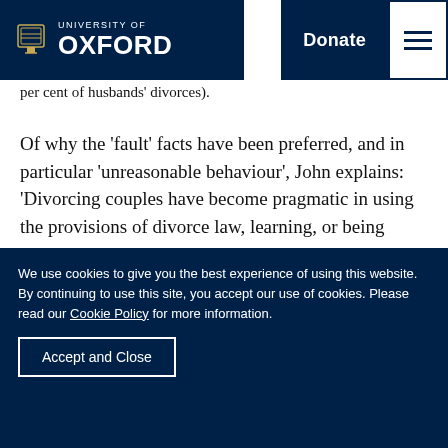University of Oxford — navigation bar with logo, Donate button, and menu
more dramatic, from having been the least used fact in …used in 2016 (from 2 p… 6 per cent of husbands' divorces).
Of why the 'fault' facts have been preferred, and in particular 'unreasonable behaviour', John explains: 'Divorcing couples have become pragmatic in using the provisions of divorce law, learning, or being advised, that petitioning on a 'fault' fact ensures a faster divorce than on a separation fact - with 'unreasonable behaviour' providing the fastest. Divorcing wives may well need to obtain ancillary relief urgently, which may
We use cookies to give you the best experience of using this website. By continuing to use this site, you accept our use of cookies. Please read our Cookie Policy for more information.
Accept and Close